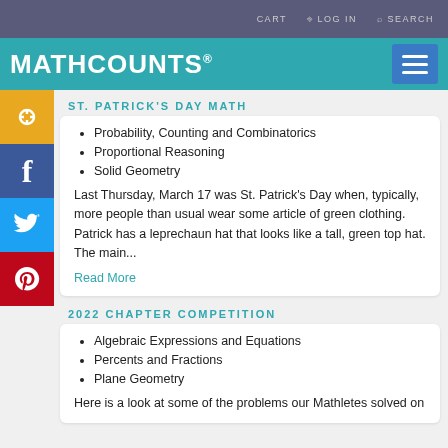CART   LOG IN   SEARCH
MATHCOUNTS®
ST. PATRICK'S DAY MATH
Probability, Counting and Combinatorics
Proportional Reasoning
Solid Geometry
Last Thursday, March 17 was St. Patrick's Day when, typically, more people than usual wear some article of green clothing. Patrick has a leprechaun hat that looks like a tall, green top hat. The main...
Read More
2022 CHAPTER COMPETITION
Algebraic Expressions and Equations
Percents and Fractions
Plane Geometry
Here is a look at some of the problems our Mathletes solved on